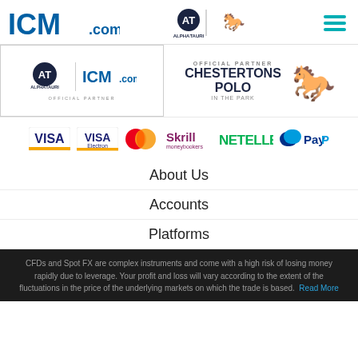ICM.com | AlphaTauri | Chestertons Polo
[Figure (logo): AlphaTauri and ICM.com official partner banner (left), Chestertons Polo In The Park official partner banner (right)]
[Figure (logo): Payment method logos: VISA, VISA Electron, Mastercard, Skrill Moneybookers, NETELLER, PayPal]
About Us
Accounts
Platforms
CFDs and Spot FX are complex instruments and come with a high risk of losing money rapidly due to leverage. Your profit and loss will vary according to the extent of the fluctuations in the price of the underlying markets on which the trade is based.
Read More